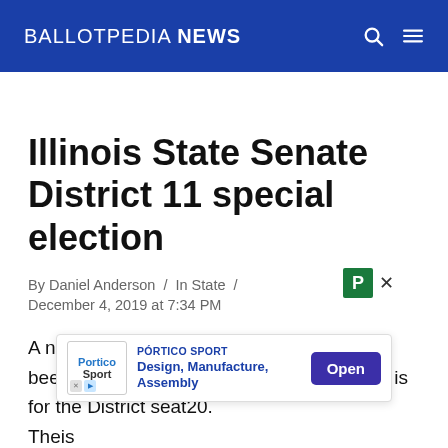BALLOTPEDIA NEWS
Illinois State Senate District 11 special election
By Daniel Anderson / In State /
December 4, 2019 at 7:34 PM
A new state legislative special election has been added to our list. The special election is for the District 11 seat … 20. The … is on December 9, 2019.
[Figure (screenshot): Advertisement overlay: Pórtico Sport - Design, Manufacture, Assembly with Open button]